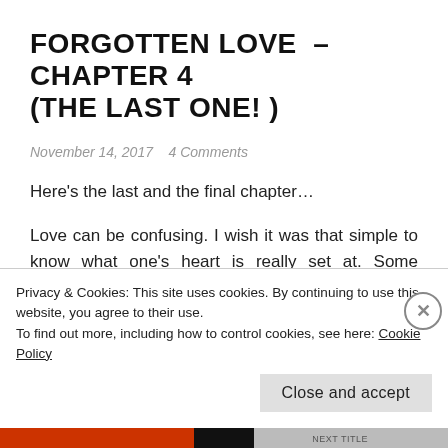FORGOTTEN LOVE – CHAPTER 4 (THE LAST ONE! )
November 14, 2017   4 Comments
Here's the last and the final chapter…
Love can be confusing. I wish it was that simple to know what one's heart is really set at. Some believe in heart playing the role, Some believe that its just the trick of your mind. So is all this just an illusion? An illusion of being in love with someone when you are just looking for comfort, wanting your heart to be at peace. Wait
Privacy & Cookies: This site uses cookies. By continuing to use this website, you agree to their use.
To find out more, including how to control cookies, see here: Cookie Policy
Close and accept